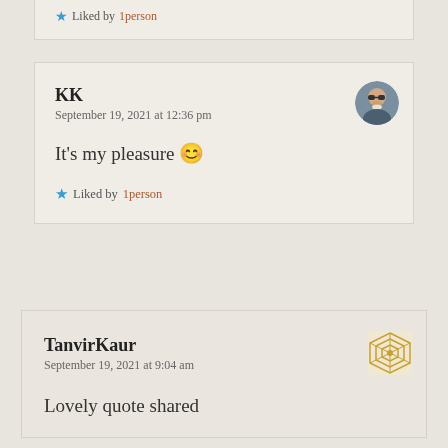★ Liked by 1person
KK
September 19, 2021 at 12:36 pm
It's my pleasure 😊
★ Liked by 1person
TanvirKaur
September 19, 2021 at 9:04 am
Lovely quote shared